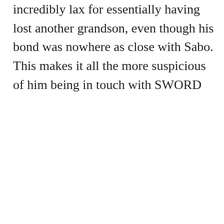incredibly lax for essentially having lost another grandson, even though his bond was nowhere as close with Sabo. This makes it all the more suspicious of him being in touch with SWORD
★ Like
REPLY
[Figure (illustration): Black circular avatar with a trident/anchor symbol in white lines]
stigmadiabol
22 SEPTEMBER,
Advertisements
[Figure (photo): MAC cosmetics advertisement showing colorful lipsticks with MAC logo and SHOP NOW button]